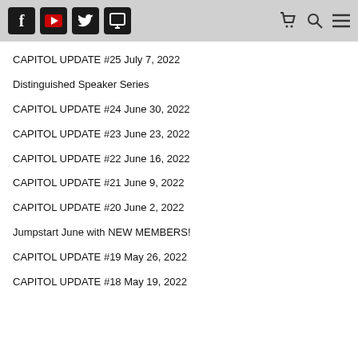Social media icons (Facebook, YouTube, Twitter, Parler) and navigation icons (cart, search, menu)
CAPITOL UPDATE #25 July 7, 2022
Distinguished Speaker Series
CAPITOL UPDATE #24 June 30, 2022
CAPITOL UPDATE #23 June 23, 2022
CAPITOL UPDATE #22 June 16, 2022
CAPITOL UPDATE #21 June 9, 2022
CAPITOL UPDATE #20 June 2, 2022
Jumpstart June with NEW MEMBERS!
CAPITOL UPDATE #19 May 26, 2022
CAPITOL UPDATE #18 May 19, 2022